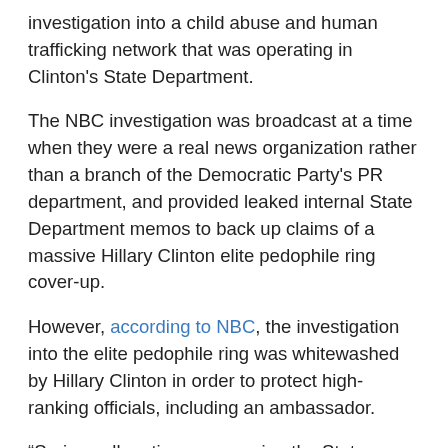investigation into a child abuse and human trafficking network that was operating in Clinton's State Department.
The NBC investigation was broadcast at a time when they were a real news organization rather than a branch of the Democratic Party's PR department, and provided leaked internal State Department memos to back up claims of a massive Hillary Clinton elite pedophile ring cover-up.
However, according to NBC, the investigation into the elite pedophile ring was whitewashed by Hillary Clinton in order to protect high-ranking officials, including an ambassador.
“Serious allegations concerning the State Department,” the NBC anchor announced, before launching into the disturbing details that mainstream media would be unable to report on in 2017.
“According to internal State Department memos the agency might have called off or intervened into investigations into possibly illegal, inappropriate behavior within it’s ranks allegedly to protect jobs and avoid scandals.